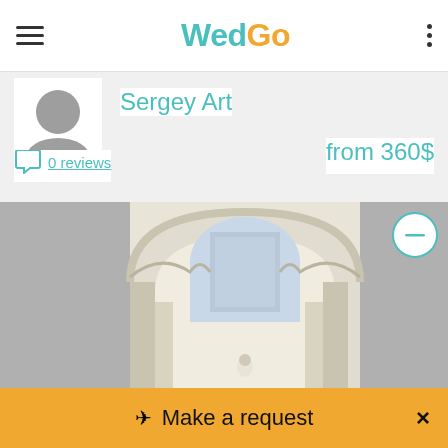WedGo
Sergey Art
0 reviews
from 360$
[Figure (photo): Wedding photo inside ornate white baroque church with arched ceilings and a bride visible at the bottom, viewed through a grand archway with elaborate plasterwork.]
Make a request